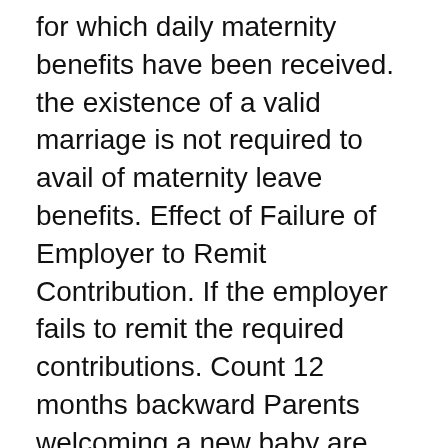for which daily maternity benefits have been received. the existence of a valid marriage is not required to avail of maternity leave benefits. Effect of Failure of Employer to Remit Contribution. If the employer fails to remit the required contributions. Count 12 months backward Parents welcoming a new baby are entitled to standard parental leave of up to 37 consecutive weeks, or BCGEU, PEA or excluded employees can elect to take an extended parental leave вЂ¦
Use this sample teacher leave of absence letter as a template for your formal notification. When teachers take a long leave, it has a major effect on the